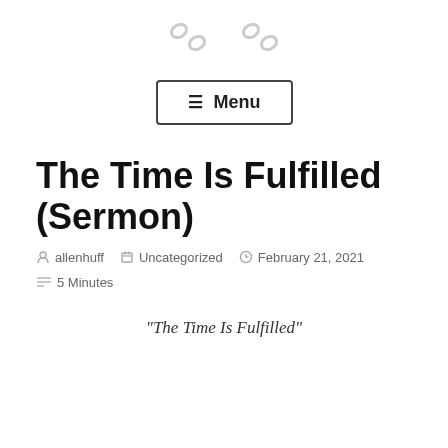☆ Menu
The Time Is Fulfilled (Sermon)
allenhuff   Uncategorized   February 21, 2021   5 Minutes
"The Time Is Fulfilled"